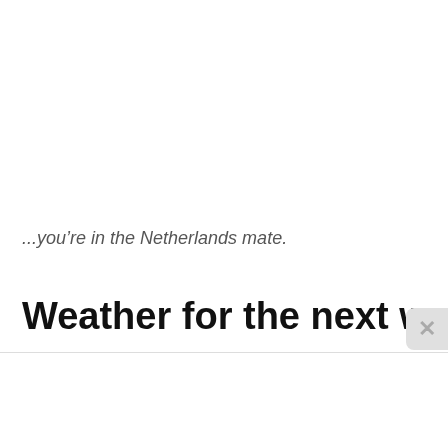...you're in the Netherlands mate.
Weather for the next week